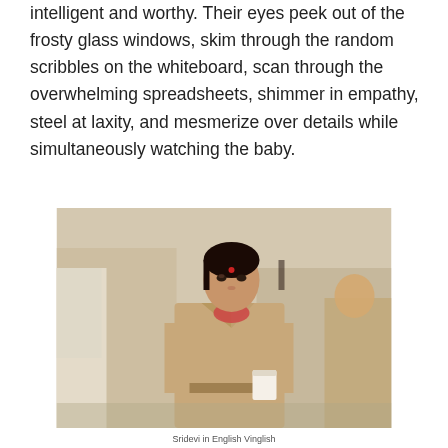intelligent and worthy. Their eyes peek out of the frosty glass windows, skim through the random scribbles on the whiteboard, scan through the overwhelming spreadsheets, shimmer in empathy, steel at laxity, and mesmerize over details while simultaneously watching the baby.
[Figure (photo): A woman in a tan/beige belted coat holding a white cup, walking outdoors on a street with other people in the background. Urban outdoor setting, possibly New York City.]
Sridevi in English Vinglish